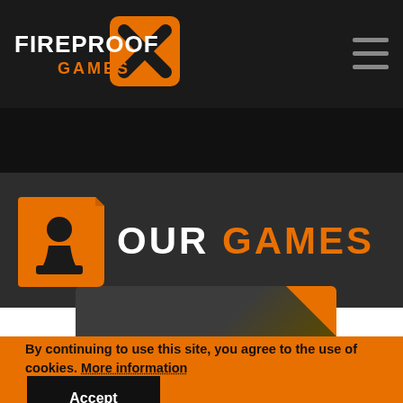[Figure (logo): Fireproof Games logo — white bold text 'FIREPROOF' with orange 'GAMES' below it, and an orange square with a dark X mark on the right]
[Figure (infographic): Three horizontal lines (hamburger menu icon) in grey on the right side of the header]
[Figure (illustration): Orange rounded-square icon with a game controller / chess pawn stamp figure in black — the 'Our Games' section icon]
OUR GAMES
[Figure (screenshot): Partial view of a dark game interface with a folded orange corner effect in bottom-right]
By continuing to use this site, you agree to the use of cookies. More information
Accept